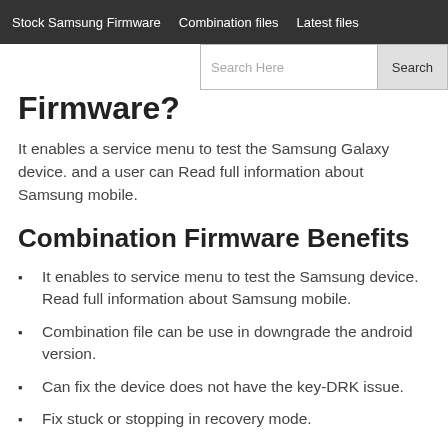Stock Samsung Firmware   Combination files   Latest files
Firmware?
It enables a service menu to test the Samsung Galaxy device. and a user can Read full information about Samsung mobile.
Combination Firmware Benefits
It enables to service menu to test the Samsung device. Read full information about Samsung mobile.
Combination file can be use in downgrade the android version.
Can fix the device does not have the key-DRK issue.
Fix stuck or stopping in recovery mode.